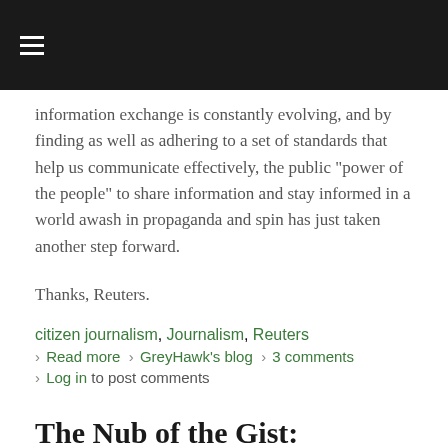☰
information exchange is constantly evolving, and by finding as well as adhering to a set of standards that help us communicate effectively, the public "power of the people" to share information and stay informed in a world awash in propaganda and spin has just taken another step forward.
Thanks, Reuters.
citizen journalism, Journalism, Reuters
› Read more › GreyHawk's blog › 3 comments
› Log in to post comments
The Nub of the Gist: Newspapers, Journalism and an Informed Public
Submitted by GreyHawk on May 13, 2009 - 12:04